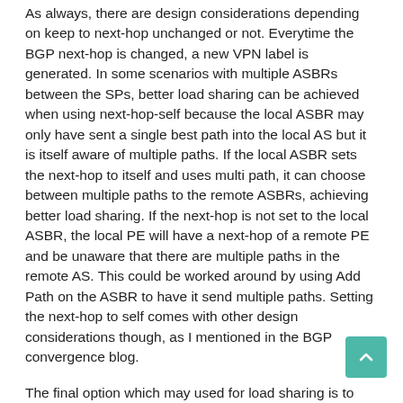As always, there are design considerations depending on keep to next-hop unchanged or not. Everytime the BGP next-hop is changed, a new VPN label is generated. In some scenarios with multiple ASBRs between the SPs, better load sharing can be achieved when using next-hop-self because the local ASBR may only have sent a single best path into the local AS but it is itself aware of multiple paths. If the local ASBR sets the next-hop to itself and uses multi path, it can choose between multiple paths to the remote ASBRs, achieving better load sharing. If the next-hop is not set to the local ASBR, the local PE will have a next-hop of a remote PE and be unaware that there are multiple paths in the remote AS. This could be worked around by using Add Path on the ASBR to have it send multiple paths. Setting the next-hop to self comes with other design considerations though, as I mentioned in the BGP convergence blog.
The final option which may used for load sharing is to have several interfaces between the ASBRs and do eBGP multihop between the ASBRs. This solution comes with a